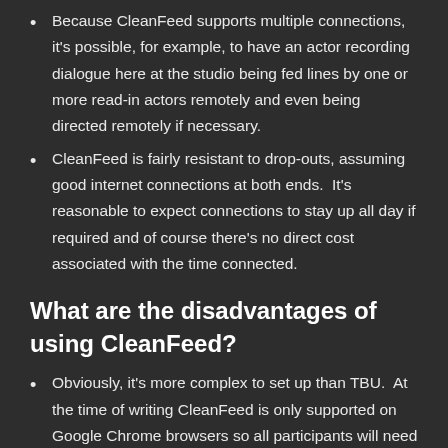Because CleanFeed supports multiple connections, it's possible, for example, to have an actor recording dialogue here at the studio being fed lines by one or more read-in actors remotely and even being directed remotely if necessary.
CleanFeed is fairly resistant to drop-outs, assuming good internet connections at both ends.  It's reasonable to expect connections to stay up all day if required and of course there's no direct cost associated with the time connected.
What are the disadvantages of using CleanFeed?
Obviously, it's more complex to set up than TBU.  At the time of writing CleanFeed is only supported on Google Chrome browsers so all participants will need to be using a computer running Chrome and have some basic understanding of audio